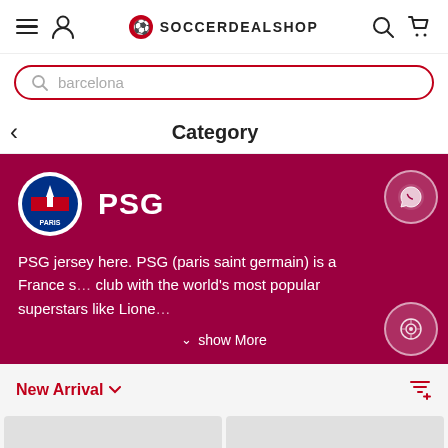[Figure (screenshot): SoccerDealShop website header navigation bar with hamburger menu, user icon, logo with soccer ball, search icon, and cart icon]
barcelona
Category
[Figure (screenshot): PSG category banner with PSG logo, PSG title, description text about PSG jersey and paris saint germain, show More button, WhatsApp and support floating icons]
New Arrival